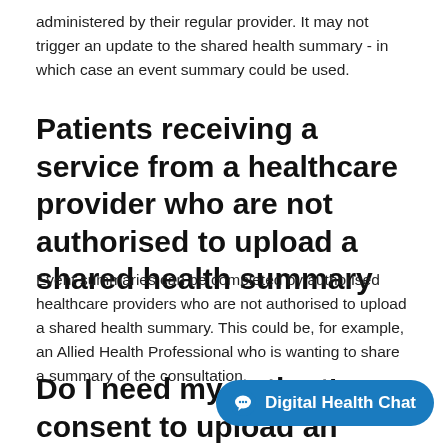administered by their regular provider. It may not trigger an update to the shared health summary - in which case an event summary could be used.
Patients receiving a service from a healthcare provider who are not authorised to upload a shared health summary
Event summaries can be completed by authorised healthcare providers who are not authorised to upload a shared health summary. This could be, for example, an Allied Health Professional who is wanting to share a summary of the consultation.
Do I need my patient's consent to upload an